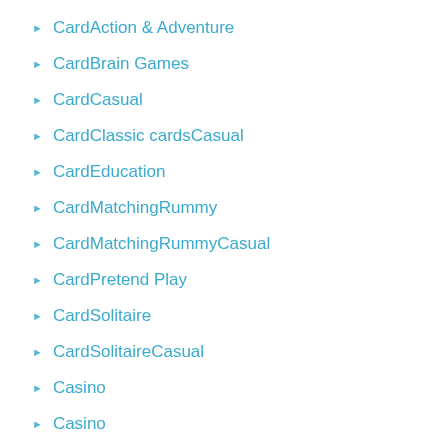CardAction & Adventure
CardBrain Games
CardCasual
CardClassic cardsCasual
CardEducation
CardMatchingRummy
CardMatchingRummyCasual
CardPretend Play
CardSolitaire
CardSolitaireCasual
Casino
Casino